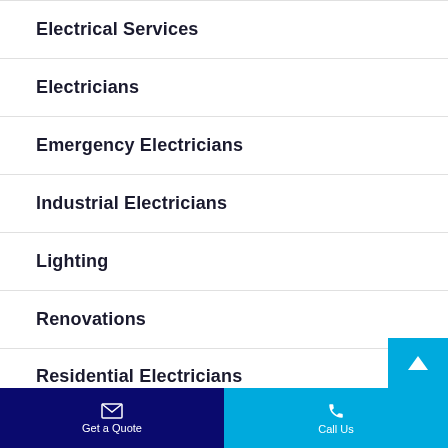Electrical Services
Electricians
Emergency Electricians
Industrial Electricians
Lighting
Renovations
Residential Electricians
Get a Quote | Call Us